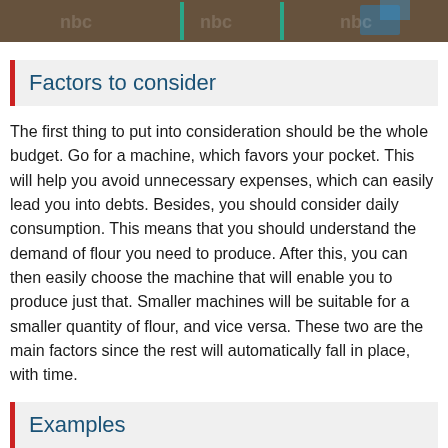[Figure (photo): Photograph of industrial milling or factory equipment, partially visible at the top of the page]
Factors to consider
The first thing to put into consideration should be the whole budget. Go for a machine, which favors your pocket. This will help you avoid unnecessary expenses, which can easily lead you into debts. Besides, you should consider daily consumption. This means that you should understand the demand of flour you need to produce. After this, you can then easily choose the machine that will enable you to produce just that. Smaller machines will be suitable for a smaller quantity of flour, and vice versa. These two are the main factors since the rest will automatically fall in place, with time.
Examples